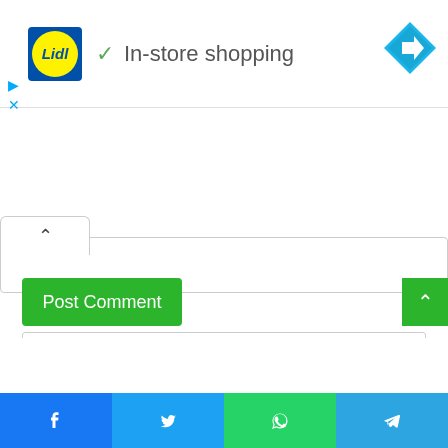[Figure (screenshot): Lidl advertisement banner with logo, 'In-store shopping' text with checkmark, and navigation arrow icon. Below are ad control icons (play and close).]
[Figure (screenshot): Web form section with collapse tab (up arrow), Website input field, checkbox for saving browser info, math CAPTCHA (eight + fifteen = [input]), Post Comment button, and scroll-to-top button.]
[Figure (screenshot): Social sharing bar at the bottom with Facebook, Twitter, WhatsApp, and Telegram buttons.]